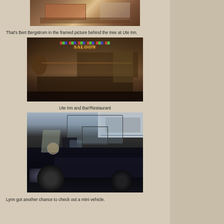[Figure (photo): A framed picture partially visible behind a Christmas tree at Ute Inn, with decorative items on a table]
That's Bert Bergstrom in the framed picture behind the tree at Ute Inn.
[Figure (photo): Interior of Ute Inn and Bar/Restaurant showing bar area with patrons seated at tables, bar stools, decorations, and dim lighting]
Ute Inn and Bar/Restaurant
[Figure (photo): A person (Lynn) sitting in the driver seat of a Polaris XP side-by-side UTV/mini vehicle, with other vehicles visible in the background outside a dealership]
Lynn got another chance to check out a mini vehicle.